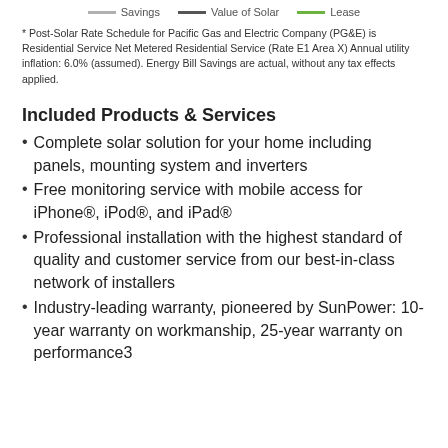[Figure (other): Chart legend showing three series: Savings (light gray dashed line), Value of Solar (dark gray line), Lease (green line)]
* Post-Solar Rate Schedule for Pacific Gas and Electric Company (PG&E) is Residential Service Net Metered Residential Service (Rate E1 Area X) Annual utility inflation: 6.0% (assumed). Energy Bill Savings are actual, without any tax effects applied.
Included Products & Services
Complete solar solution for your home including panels, mounting system and inverters
Free monitoring service with mobile access for iPhone®, iPod®, and iPad®
Professional installation with the highest standard of quality and customer service from our best-in-class network of installers
Industry-leading warranty, pioneered by SunPower: 10-year warranty on workmanship, 25-year warranty on performance3